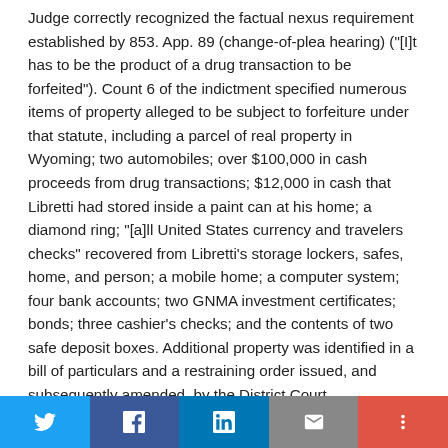Judge correctly recognized the factual nexus requirement established by 853. App. 89 (change-of-plea hearing) ("[I]t has to be the product of a drug transaction to be forfeited"). Count 6 of the indictment specified numerous items of property alleged to be subject to forfeiture under that statute, including a parcel of real property in Wyoming; two automobiles; over $100,000 in cash proceeds from drug transactions; $12,000 in cash that Libretti had stored inside a paint can at his home; a diamond ring; "[a]ll United States currency and travelers checks" recovered from Libretti's storage lockers, safes, home, and person; a mobile home; a computer system; four bank accounts; two GNMA investment certificates; bonds; three cashier's checks; and the contents of two safe deposit boxes. Additional property was identified in a bill of particulars and a restraining order issued, and subsequently amended, by the District Court
[Figure (other): Social sharing bar with Twitter, Facebook, LinkedIn, Email, and More buttons]